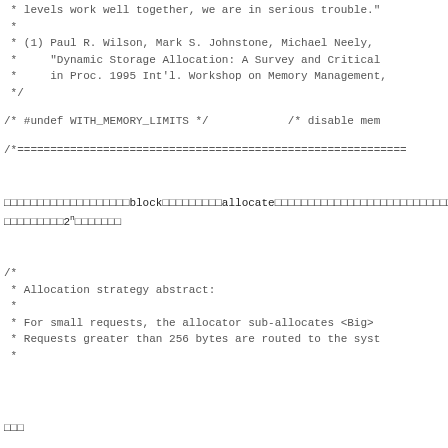* levels work well together, we are in serious trouble."
 *
 * (1) Paul R. Wilson, Mark S. Johnstone, Michael Neely,
 *     "Dynamic Storage Allocation: A Survey and Critical
 *     in Proc. 1995 Int'l. Workshop on Memory Management,
 */
/* #undef WITH_MEMORY_LIMITS */                /* disable mem
/*=============================================================
ブロックをblock単位でallocateするアロケーターです。サイズが
２ⁿバイトです。
/*
 * Allocation strategy abstract:
 *
 * For small requests, the allocator sub-allocates <Big>
 * Requests greater than 256 bytes are routed to the syst
 *
注記